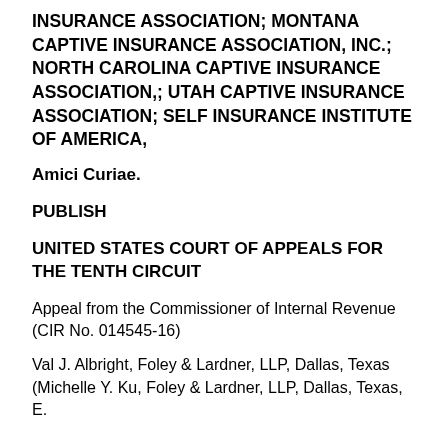INSURANCE ASSOCIATION; MONTANA CAPTIVE INSURANCE ASSOCIATION, INC.; NORTH CAROLINA CAPTIVE INSURANCE ASSOCIATION,; UTAH CAPTIVE INSURANCE ASSOCIATION; SELF INSURANCE INSTITUTE OF AMERICA,
Amici Curiae.
PUBLISH
UNITED STATES COURT OF APPEALS FOR THE TENTH CIRCUIT
Appeal from the Commissioner of Internal Revenue (CIR No. 014545-16)
Val J. Albright, Foley & Lardner, LLP, Dallas, Texas (Michelle Y. Ku, Foley & Lardner, LLP, Dallas, Texas, E.